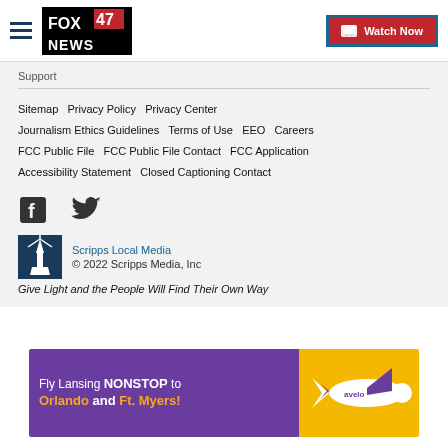FOX 47 News | Watch Now
Support
Sitemap   Privacy Policy   Privacy Center   Journalism Ethics Guidelines   Terms of Use   EEO   Careers   FCC Public File   FCC Public File Contact   FCC Application   Accessibility Statement   Closed Captioning Contact
[Figure (logo): Facebook and Twitter social media icons]
[Figure (logo): Scripps Local Media logo - lighthouse icon]
Scripps Local Media
© 2022 Scripps Media, Inc
Give Light and the People Will Find Their Own Way
[Figure (other): Advertisement banner: Fly Lansing NONSTOP to Orlando and Ft. Myers! with Avelo Airlines branding]